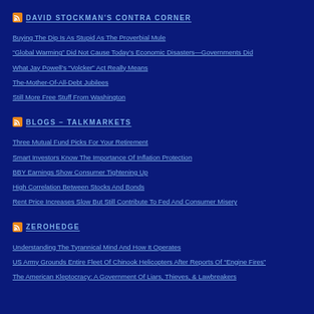DAVID STOCKMAN'S CONTRA CORNER
Buying The Dip Is As Stupid As The Proverbial Mule
“Global Warming” Did Not Cause Today’s Economic Disasters—Governments Did
What Jay Powell’s “Volcker” Act Really Means
The-Mother-Of-All-Debt Jubilees
Still More Free Stuff From Washington
BLOGS – TALKMARKETS
Three Mutual Fund Picks For Your Retirement
Smart Investors Know The Importance Of Inflation Protection
BBY Earnings Show Consumer Tightening Up
High Correlation Between Stocks And Bonds
Rent Price Increases Slow But Still Contribute To Fed And Consumer Misery
ZEROHEDGE
Understanding The Tyrannical Mind And How It Operates
US Army Grounds Entire Fleet Of Chinook Helicopters After Reports Of “Engine Fires”
The American Kleptocracy: A Government Of Liars, Thieves, & Lawbreakers